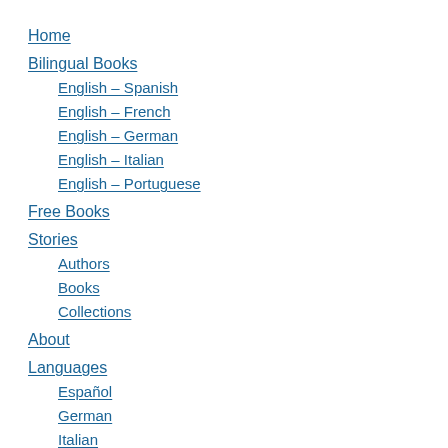Home
Bilingual Books
English – Spanish
English – French
English – German
English – Italian
English – Portuguese
Free Books
Stories
Authors
Books
Collections
About
Languages
Español
German
Italian
French